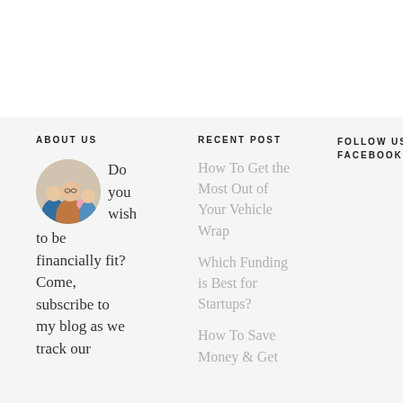ABOUT US
Do you wish to be financially fit? Come, subscribe to my blog as we track our
RECENT POST
How To Get the Most Out of Your Vehicle Wrap
Which Funding is Best for Startups?
How To Save Money & Get
FOLLOW US ON FACEBOOK